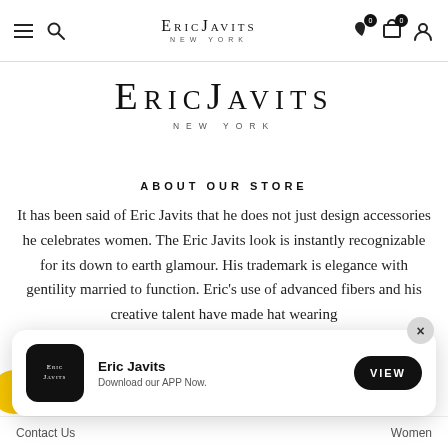ERICJAVITS NEW YORK — navigation bar with menu, search, wishlist, cart, account icons
[Figure (logo): Eric Javits New York logo — large serif brand name in small caps with NEW YORK in spaced caps below]
ABOUT OUR STORE
It has been said of Eric Javits that he does not just design accessories he celebrates women. The Eric Javits look is instantly recognizable for its down to earth glamour. His trademark is elegance with gentility married to function. Eric's use of advanced fibers and his creative talent have made hat wearing
[Figure (screenshot): App download banner: Eric Javits app icon (dark square with logo), title 'Eric Javits', subtitle 'Download our APP Now.', VIEW button, close X button]
Contact Us   Women